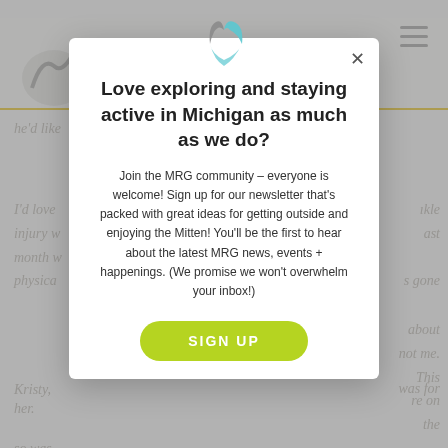[Figure (screenshot): Michigan Recreation Guide website screenshot showing background page with header logo, navigation, and italic body text, partially obscured by a modal popup overlay.]
Love exploring and staying active in Michigan as much as we do?
Join the MRG community – everyone is welcome! Sign up for our newsletter that's packed with great ideas for getting outside and enjoying the Mitten! You'll be the first to hear about the latest MRG news, events + happenings. (We promise we won't overwhelm your inbox!)
SIGN UP